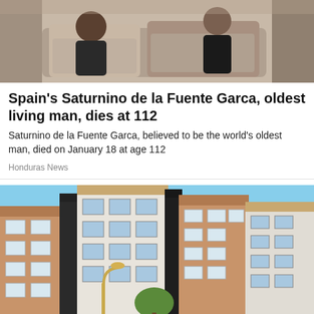[Figure (photo): Photo of elderly person sitting on a couch or sofa, partial view]
Spain's Saturnino de la Fuente Garca, oldest living man, dies at 112
Saturnino de la Fuente Garca, believed to be the world's oldest man, died on January 18 at age 112
Honduras News
[Figure (photo): Photo of modern apartment buildings with brown and white facades against a blue sky, with a street lamp in the foreground]